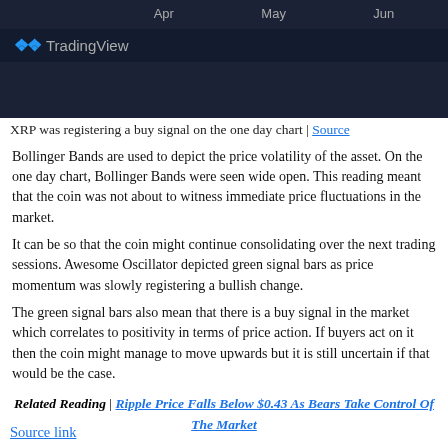[Figure (screenshot): TradingView chart header showing Apr, May, Jun axis labels on dark background with TradingView logo]
XRP was registering a buy signal on the one day chart | Source
Bollinger Bands are used to depict the price volatility of the asset. On the one day chart, Bollinger Bands were seen wide open. This reading meant that the coin was not about to witness immediate price fluctuations in the market.
It can be so that the coin might continue consolidating over the next trading sessions. Awesome Oscillator depicted green signal bars as price momentum was slowly registering a bullish change.
The green signal bars also mean that there is a buy signal in the market which correlates to positivity in terms of price action. If buyers act on it then the coin might manage to move upwards but it is still uncertain if that would be the case.
Related Reading | Ripple Price Falls Below $0.43 As Bears Take Control Of The Market
Source link